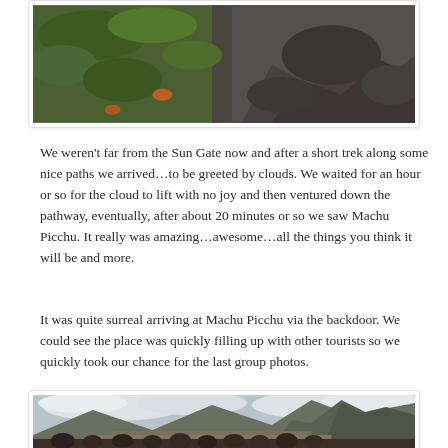[Figure (photo): Partial view of a rocky trail with green vegetation and stones, top portion of image visible at the top of the page.]
We weren't far from the Sun Gate now and after a short trek along some nice paths we arrived…to be greeted by clouds. We waited for an hour or so for the cloud to lift with no joy and then ventured down the pathway, eventually, after about 20 minutes or so we saw Machu Picchu. It really was amazing…awesome…all the things you think it will be and more.
It was quite surreal arriving at Machu Picchu via the backdoor. We could see the place was quickly filling up with other tourists so we quickly took our chance for the last group photos.
[Figure (photo): Group photo at Machu Picchu with the iconic mountain Huayna Picchu in the background under a cloudy sky. A group of tourists stands in the foreground.]